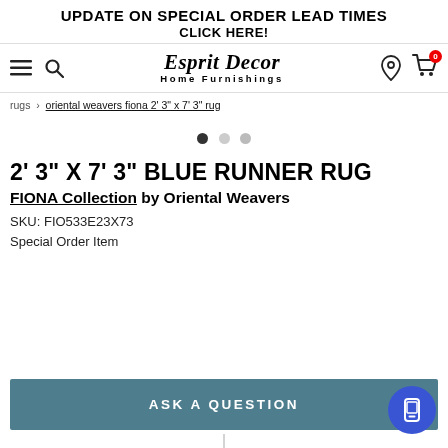UPDATE ON SPECIAL ORDER LEAD TIMES
CLICK HERE!
[Figure (logo): Esprit Decor Home Furnishings logo with navigation icons (hamburger menu, search, location pin, cart)]
rugs > oriental weavers fiona 2' 3" x 7' 3" rug
2' 3" X 7' 3" BLUE RUNNER RUG
FIONA Collection by Oriental Weavers
SKU: FIO533E23X73
Special Order Item
ASK A QUESTION